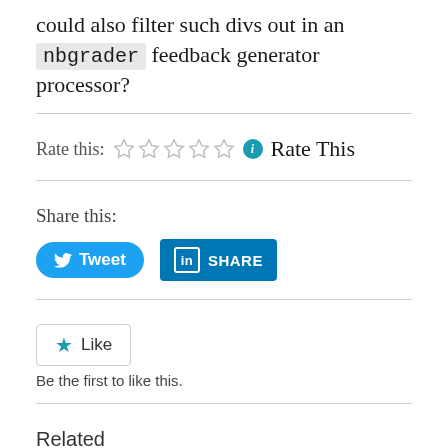could also filter such divs out in an nbgrader feedback generator processor?
Rate this: ☆☆☆☆☆ ℹ Rate This
Share this:
Tweet
SHARE
Like
Be the first to like this.
Related